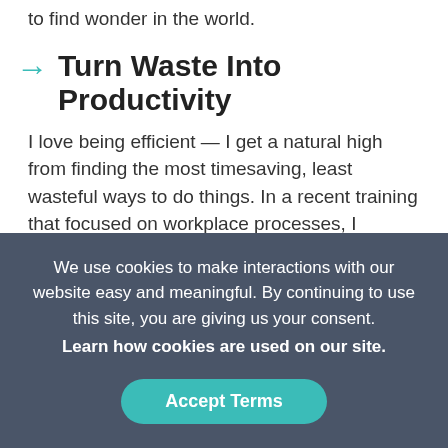to find wonder in the world.
Turn Waste Into Productivity
I love being efficient — I get a natural high from finding the most timesaving, least wasteful ways to do things. In a recent training that focused on workplace processes, I realized how much it applied to my everyday life. For example, getting ready in the morning, driving from point A to point B, cooking dinner and more. I'd like to share a few wasteful habits that could
We use cookies to make interactions with our website easy and meaningful. By continuing to use this site, you are giving us your consent.
Learn how cookies are used on our site.
Accept Terms